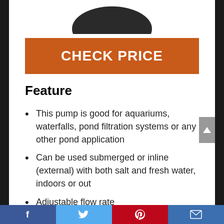[Figure (photo): Partial product image of a pump device at top of page, dark/black coloring]
CHECK PRICE
Feature
This pump is good for aquariums, waterfalls, pond filtration systems or any other pond application
Can be used submerged or inline (external) with both salt and fresh water, indoors or out
Adjustable flow rate
Safe for fish, with no oil, copper or
Facebook  Twitter  Pinterest  Email